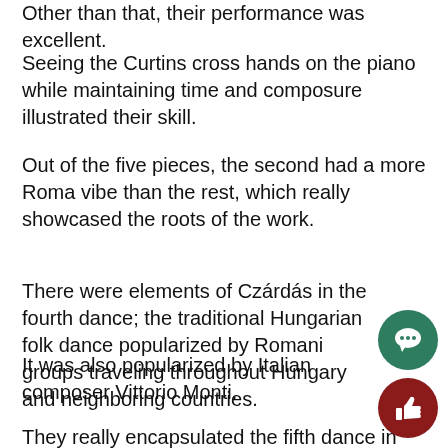Other than that, their performance was excellent.
Seeing the Curtins cross hands on the piano while maintaining time and composure illustrated their skill.
Out of the five pieces, the second had a more Roma vibe than the rest, which really showcased the roots of the work.
There were elements of Czárdás in the fourth dance; the traditional Hungarian folk dance popularized by Romani groups traveling throughout Hungary and neighboring countries.
It was also popularized by Italian composer Vittorio Monti.
They really encapsulated the fifth dance in their performance.
[Figure (illustration): Green circular button with speech bubble / comment icon]
[Figure (illustration): Dark red circular button with thumbs up / like icon]